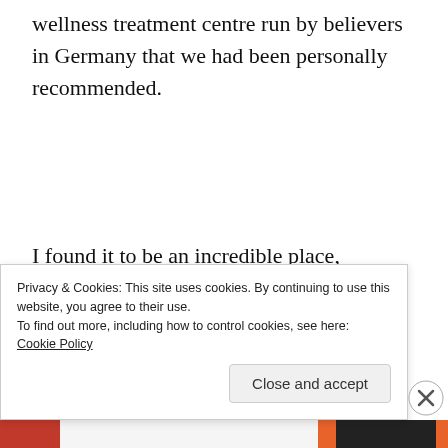wellness treatment centre run by believers in Germany that we had been personally recommended.
I found it to be an incredible place, combining an intensive medical and natural treatment plan (custom-made, based on individual lab and blood test results) with emotional and spiritual healing and prayer in a peaceful, welcoming and restful atmosphere. They have
Privacy & Cookies: This site uses cookies. By continuing to use this website, you agree to their use.
To find out more, including how to control cookies, see here: Cookie Policy
Close and accept